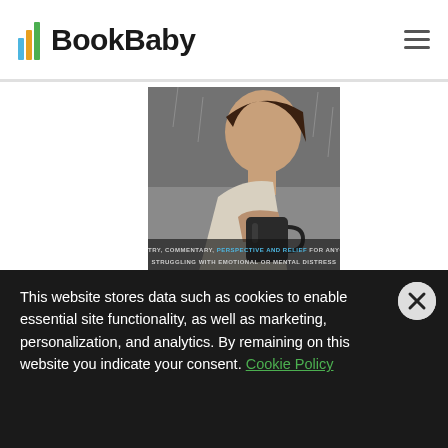BookBaby
[Figure (illustration): Book cover for 'Feelings & Rhymes Through Treacherous Times' by Bill White. Shows a woman in profile holding a dark mug against a rain-speckled window. Text on cover reads: POETRY, COMMENTARY, PERSPECTIVE AND RELIEF FOR ANYONE STRUGGLING WITH EMOTIONAL OR MENTAL DISTRESS]
Feelings & Rhymes Through Treacherous Times
Bill White
Genre: Self-Help
This website stores data such as cookies to enable essential site functionality, as well as marketing, personalization, and analytics. By remaining on this website you indicate your consent. Cookie Policy